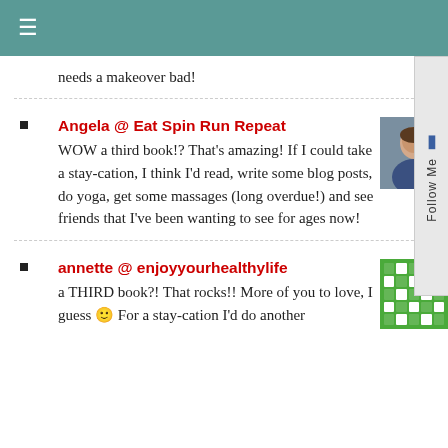≡
needs a makeover bad!
Angela @ Eat Spin Run Repeat
WOW a third book!? That's amazing! If I could take a stay-cation, I think I'd read, write some blog posts, do yoga, get some massages (long overdue!) and see friends that I've been wanting to see for ages now!
annette @ enjoyyourhealthylife
a THIRD book?! That rocks!! More of you to love, I guess 🙂 For a stay-cation I'd do another